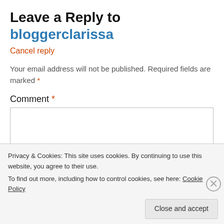Leave a Reply to bloggerclarissa
Cancel reply
Your email address will not be published. Required fields are marked *
Comment *
Privacy & Cookies: This site uses cookies. By continuing to use this website, you agree to their use.
To find out more, including how to control cookies, see here: Cookie Policy